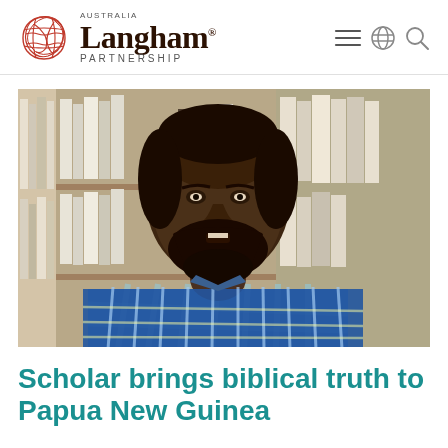AUSTRALIA Langham® PARTNERSHIP
[Figure (photo): A man with a beard wearing a blue and white plaid shirt, seated in front of a bookshelf with books, speaking or being interviewed.]
Scholar brings biblical truth to Papua New Guinea